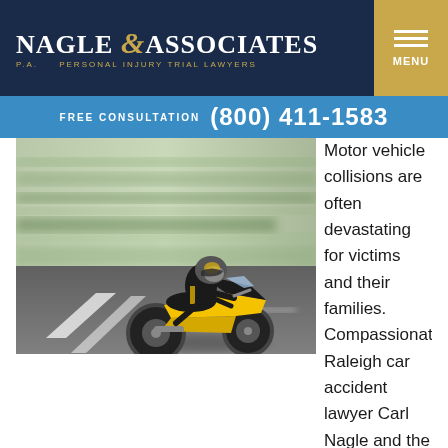NAGLE & ASSOCIATES P.A. PERSONAL INJURY TRIAL LAWYERS
FREE CONSULTATION (800) 411-1583
[Figure (photo): A motorcyclist on a yellow and black sport motorcycle speeding on a road, with motion blur in the background.]
Motor vehicle collisions are often devastating for victims and their families. Compassionate Raleigh car accident lawyer Carl Nagle and the staff at Nagle & Associates understand the potentially life-threatening injuries and financial hardships that often follow serious motor vehicle accidents. Before founding this firm, Mr.